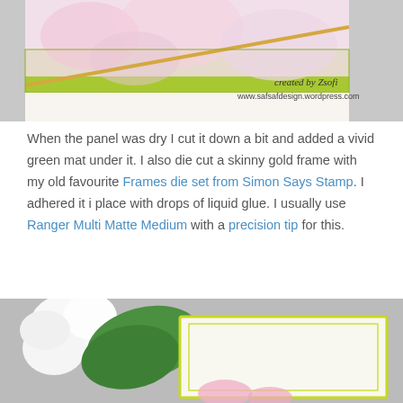[Figure (photo): Close-up photo of a card with pink floral watercolor panel on a vivid green mat with gold diagonal stripe. Watermark text reads 'created by Zsofi' and 'www.safsafdesign.wordpress.com']
When the panel was dry I cut it down a bit and added a vivid green mat under it. I also die cut a skinny gold frame with my old favourite Frames die set from Simon Says Stamp. I adhered it i place with drops of liquid glue. I usually use Ranger Multi Matte Medium with a precision tip for this.
[Figure (photo): Close-up photo of a white flower and green leaf next to a card with a light green/yellow frame on gray background, with pink elements visible at bottom.]